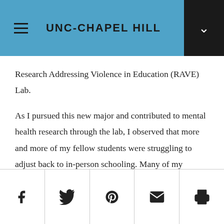UNC-CHAPEL HILL
Research Addressing Violence in Education (RAVE) Lab.

As I pursued this new major and contributed to mental health research through the lab, I observed that more and more of my fellow students were struggling to adjust back to in-person schooling. Many of my classmates were burned out from the financial, health, and academic pressures of COVID-19. It seemed impossible to maintain our past
Social share icons: Facebook, Twitter, Pinterest, Email, Print